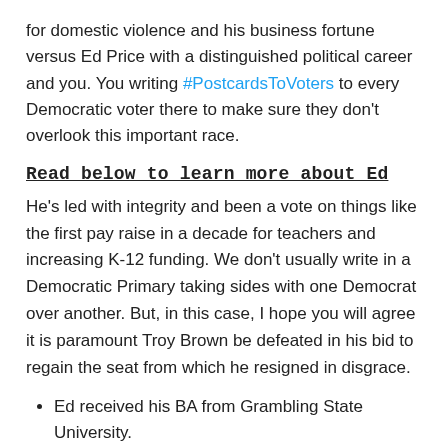for domestic violence and his business fortune versus Ed Price with a distinguished political career and you. You writing #PostcardsToVoters to every Democratic voter there to make sure they don't overlook this important race.
Read below to learn more about Ed
He's led with integrity and been a vote on things like the first pay raise in a decade for teachers and increasing K-12 funding. We don't usually write in a Democratic Primary taking sides with one Democrat over another. But, in this case, I hope you will agree it is paramount Troy Brown be defeated in his bid to regain the seat from which he resigned in disgrace.
Ed received his BA from Grambling State University.
He is Vice-Chairman of the Senate Committee on